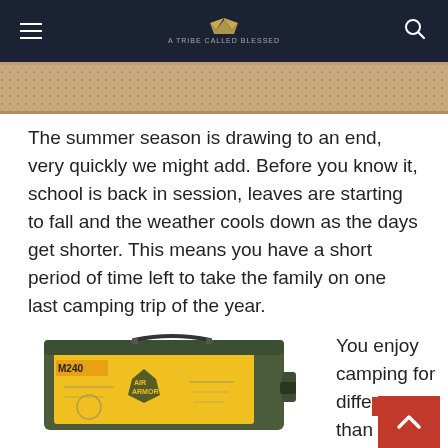≡  [logo/crown] A TRIBE CALLED BLESSED  🔍
[Figure (photo): Sandy/gravel texture hero banner image strip]
The summer season is drawing to an end, very quickly we might add. Before you know it, school is back in session, leaves are starting to fall and the weather cools down as the days get shorter. This means you have a short period of time left to take the family on one last camping trip of the year.
[Figure (photo): Air Armor M240 ammo can / portable compressor kit in olive drab and yellow packaging]
You enjoy camping for diffe reas than your